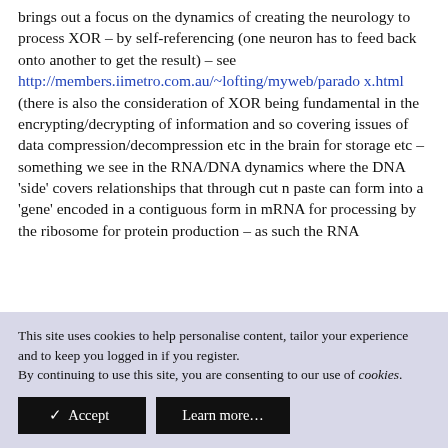brings out a focus on the dynamics of creating the neurology to process XOR – by self-referencing (one neuron has to feed back onto another to get the result) – see http://members.iimetro.com.au/~lofting/myweb/paradox.html (there is also the consideration of XOR being fundamental in the encrypting/decrypting of information and so covering issues of data compression/decompression etc in the brain for storage etc – something we see in the RNA/DNA dynamics where the DNA 'side' covers relationships that through cut n paste can form into a 'gene' encoded in a contiguous form in mRNA for processing by the ribosome for protein production – as such the RNA
This site uses cookies to help personalise content, tailor your experience and to keep you logged in if you register.
By continuing to use this site, you are consenting to our use of cookies.